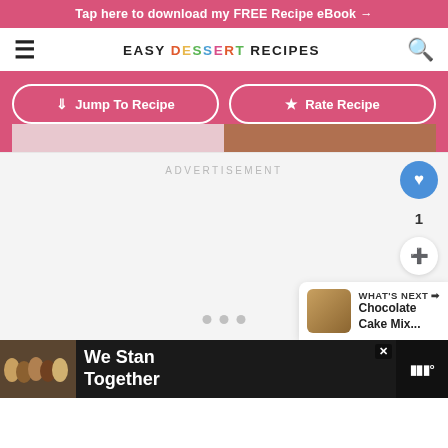Tap here to download my FREE Recipe eBook →
[Figure (logo): Easy Dessert Recipes logo with hamburger menu and search icons]
↓ Jump To Recipe
★ Rate Recipe
ADVERTISEMENT
1
WHAT'S NEXT → Chocolate Cake Mix...
[Figure (photo): Bottom advertisement banner: group of people with text We Stand Together]
We Stand Together